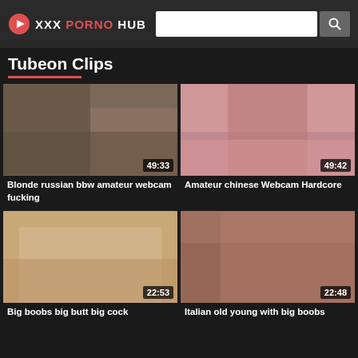XXX PORNO HUB
Tubeon Clips
[Figure (screenshot): Video thumbnail 1: Blonde russian bbw amateur webcam fucking, duration 49:33]
Blonde russian bbw amateur webcam fucking
[Figure (screenshot): Video thumbnail 2: Amateur chinese Webcam Hardcore, duration 49:42]
Amateur chinese Webcam Hardcore
[Figure (screenshot): Video thumbnail 3: Big boobs big butt big cock ..., duration 22:53]
Big boobs big butt big cock
[Figure (screenshot): Video thumbnail 4: Italian old young with big boobs, duration 22:48]
Italian old young with big boobs